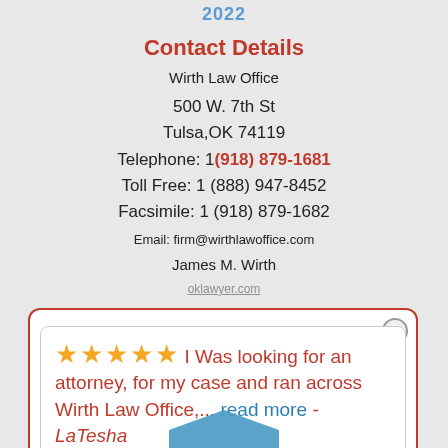2022
Contact Details
Wirth Law Office
500 W. 7th St
Tulsa,OK 74119
Telephone: 1(918) 879-1681
Toll Free: 1 (888) 947-8452
Facsimile: 1 (918) 879-1682
Email: firm@wirthlawoffice.com
James M. Wirth
[Figure (other): Google review popup with 5 gold stars and text: I Was looking for an attorney, for my case and ran across Wirth Law Office,... read more - LaTesha C. With Google logo bottom right.]